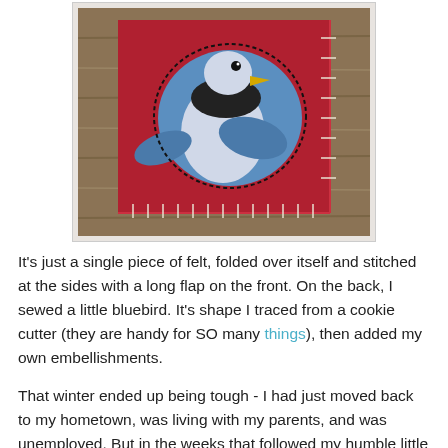[Figure (photo): Photo of a handmade felt craft: a red felt card/pouch with white blanket-stitch edging, featuring an appliqued bluebird (blue body, white chest, black neck, yellow beak) sewn on the front, placed on a wooden surface.]
It's just a single piece of felt, folded over itself and stitched at the sides with a long flap on the front.  On the back, I sewed a little bluebird.  It's shape I traced from a cookie cutter (they are handy for SO many things), then added my own embellishments.
That winter ended up being tough - I had just moved back to my hometown, was living with my parents, and was unemployed.  But in the weeks that followed my humble little crafting project, this tweety guy really did help to brighten those dark days.
In the end, it's the small, simple things that make all the difference.  Which is great really, because everyone can do